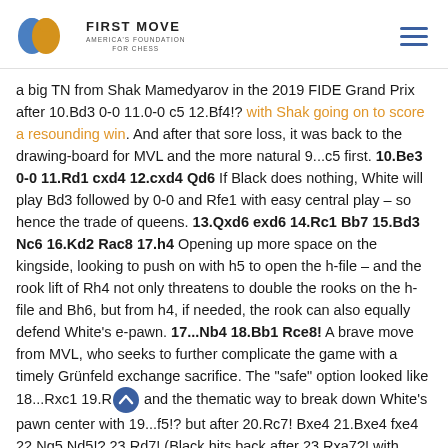FIRST MOVE – AMERICA'S FOUNDATION FOR CHESS
a big TN from Shak Mamedyarov in the 2019 FIDE Grand Prix after 10.Bd3 0-0 11.0-0 c5 12.Bf4!? with Shak going on to score a resounding win. And after that sore loss, it was back to the drawing-board for MVL and the more natural 9...c5 first. 10.Be3 0-0 11.Rd1 cxd4 12.cxd4 Qd6 If Black does nothing, White will play Bd3 followed by 0-0 and Rfe1 with easy central play – so hence the trade of queens. 13.Qxd6 exd6 14.Rc1 Bb7 15.Bd3 Nc6 16.Kd2 Rac8 17.h4 Opening up more space on the kingside, looking to push on with h5 to open the h-file – and the rook lift of Rh4 not only threatens to double the rooks on the h-file and Bh6, but from h4, if needed, the rook can also equally defend White's e-pawn. 17...Nb4 18.Bb1 Rce8! A brave move from MVL, who seeks to further complicate the game with a timely Grünfeld exchange sacrifice. The "safe" option looked like 18...Rxc1 19.R... and the thematic way to break down White's pawn center with 19...f5!? but after 20.Rc7! Bxe4 21.Bxe4 fxe4 22.Ng5 Nd5!? 23.Rd7! (Black hits back after 23.Rxa7?! with 23...Bh6! 24.Nxe4 Bxe3+ 25.fxe3 Re8! 26.Nxd6 Rxe3 and is over the worst of it, with equality in sight.) 23...